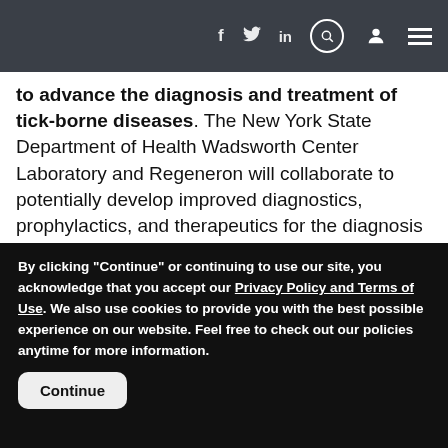Navigation bar with social icons (f, twitter, in), search, user, and menu icons
to advance the diagnosis and treatment of tick-borne diseases. The New York State Department of Health Wadsworth Center Laboratory and Regeneron will collaborate to potentially develop improved diagnostics, prophylactics, and therapeutics for the diagnosis and treatment of tick-borne diseases, starting with Lyme disease. Regeneron and the Wadsworth Center Laboratory will jointly research how the causative agent of Lyme disease, the bacterium Borrelia
By clicking "Continue" or continuing to use our site, you acknowledge that you accept our Privacy Policy and Terms of Use. We also use cookies to provide you with the best possible experience on our website. Feel free to check out our policies anytime for more information.